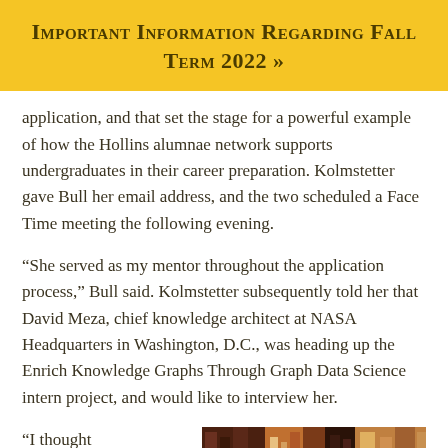Important Information Regarding Fall Term 2022 »
application, and that set the stage for a powerful example of how the Hollins alumnae network supports undergraduates in their career preparation. Kolmstetter gave Bull her email address, and the two scheduled a Face Time meeting the following evening.
“She served as my mentor throughout the application process,” Bull said. Kolmstetter subsequently told her that David Meza, chief knowledge architect at NASA Headquarters in Washington, D.C., was heading up the Enrich Knowledge Graphs Through Graph Data Science intern project, and would like to interview her.
“I thought it sounded
[Figure (photo): A photo showing what appears to be shelves or a room interior with dark and warm tones]